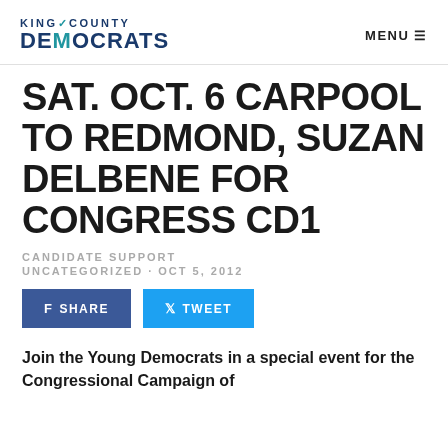KING COUNTY DEMOCRATS | MENU
SAT. OCT. 6 CARPOOL TO REDMOND, SUZAN DELBENE FOR CONGRESS CD1
CANDIDATE SUPPORT
UNCATEGORIZED · OCT 5, 2012
f SHARE   ᵔ TWEET
Join the Young Democrats in a special event for the Congressional Campaign of